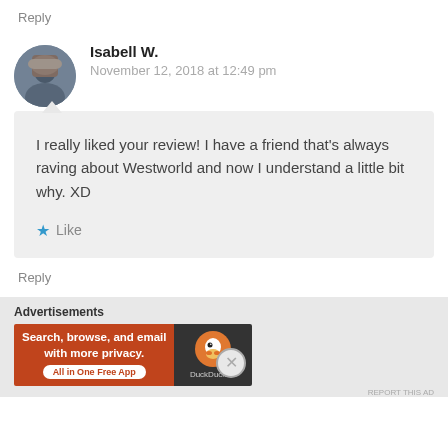Reply
Isabell W.
November 12, 2018 at 12:49 pm
I really liked your review! I have a friend that's always raving about Westworld and now I understand a little bit why. XD
Like
Reply
[Figure (screenshot): DuckDuckGo advertisement banner: orange left panel with text 'Search, browse, and email with more privacy. All in One Free App', dark right panel with DuckDuckGo logo and duck icon.]